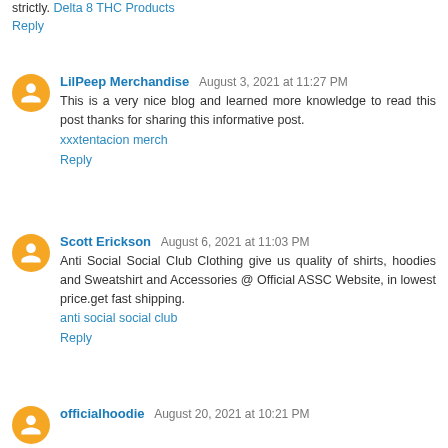strictly. Delta 8 THC Products
Reply
LilPeep Merchandise  August 3, 2021 at 11:27 PM
This is a very nice blog and learned more knowledge to read this post thanks for sharing this informative post.
xxxtentacion merch
Reply
Scott Erickson  August 6, 2021 at 11:03 PM
Anti Social Social Club Clothing give us quality of shirts, hoodies and Sweatshirt and Accessories @ Official ASSC Website, in lowest price.get fast shipping.
anti social social club
Reply
officialhoodie  August 20, 2021 at 10:21 PM